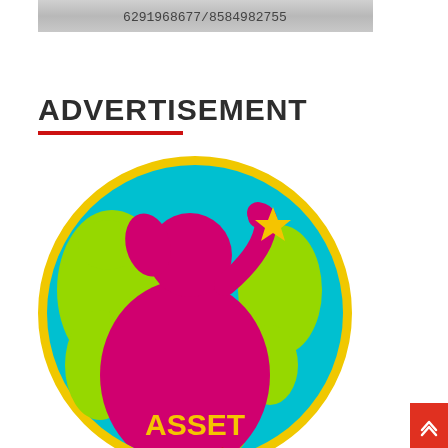[Figure (screenshot): A grey/silver banner with phone number text: 6291968677/8584982755]
ADVERTISEMENT
[Figure (logo): ASSET logo: circular globe design in cyan/teal and lime green with a magenta silhouette of a girl with pigtails holding up a gold four-pointed star. The word ASSET appears in gold/yellow text at the bottom of the circle. Below the circle in red italic text: Reconstructing The Society]